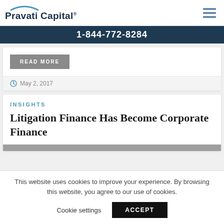Pravati Capital
1-844-772-8284
READ MORE
May 2, 2017
INSIGHTS
Litigation Finance Has Become Corporate Finance
This website uses cookies to improve your experience. By browsing this website, you agree to our use of cookies.
Cookie settings
ACCEPT